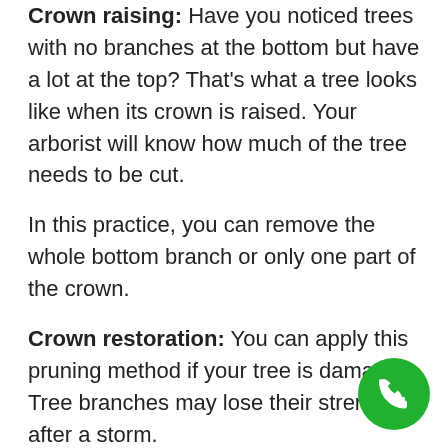Crown raising: Have you noticed trees with no branches at the bottom but have a lot at the top? That's what a tree looks like when its crown is raised. Your arborist will know how much of the tree needs to be cut.
In this practice, you can remove the whole bottom branch or only one part of the crown.
Crown restoration: You can apply this pruning method if your tree is damaged. Tree branches may lose their strength after a storm.
An arborist will help you by taking care of the damaged branches by cutting or removing them.
Crown Cleaning: This is the basic type of trimming your tree can get. It involves removing a dead or damaged tree or branches. An arborist will know how much needs to be removed or